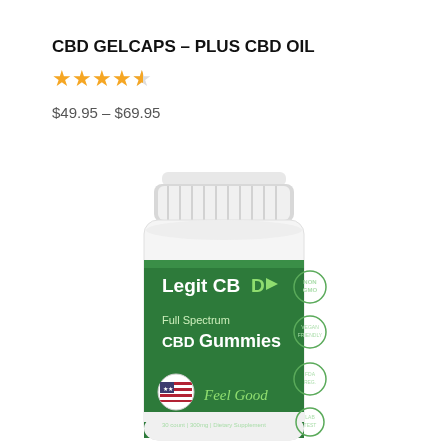CBD GELCAPS – PLUS CBD OIL
★★★★★ (4.5 stars)
$49.95 – $69.95
[Figure (photo): A white supplement bottle with a green label reading 'Legit CBD – Full Spectrum CBD Gummies – Feel Good – 30 count | 300mg | Dietary Supplement' with an American flag icon and circular badge icons on the right side of the label.]